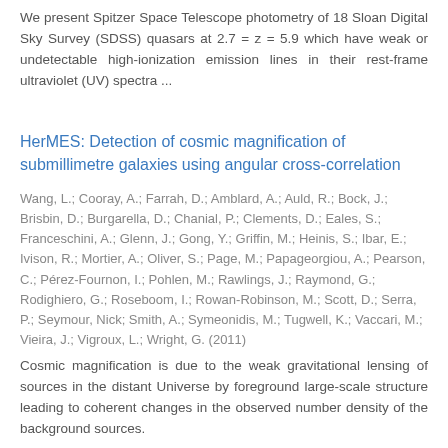We present Spitzer Space Telescope photometry of 18 Sloan Digital Sky Survey (SDSS) quasars at 2.7 = z = 5.9 which have weak or undetectable high-ionization emission lines in their rest-frame ultraviolet (UV) spectra ...
HerMES: Detection of cosmic magnification of submillimetre galaxies using angular cross-correlation
Wang, L.; Cooray, A.; Farrah, D.; Amblard, A.; Auld, R.; Bock, J.; Brisbin, D.; Burgarella, D.; Chanial, P.; Clements, D.; Eales, S.; Franceschini, A.; Glenn, J.; Gong, Y.; Griffin, M.; Heinis, S.; Ibar, E.; Ivison, R.; Mortier, A.; Oliver, S.; Page, M.; Papageorgiou, A.; Pearson, C.; Pérez-Fournon, I.; Pohlen, M.; Rawlings, J.; Raymond, G.; Rodighiero, G.; Roseboom, I.; Rowan-Robinson, M.; Scott, D.; Serra, P.; Seymour, Nick; Smith, A.; Symeonidis, M.; Tugwell, K.; Vaccari, M.; Vieira, J.; Vigroux, L.; Wright, G. (2011)
Cosmic magnification is due to the weak gravitational lensing of sources in the distant Universe by foreground large-scale structure leading to coherent changes in the observed number density of the background sources.